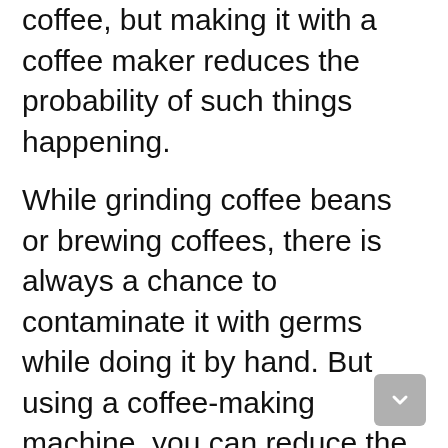coffee, but making it with a coffee maker reduces the probability of such things happening.
While grinding coffee beans or brewing coffees, there is always a chance to contaminate it with germs while doing it by hand. But using a coffee-making machine, you can reduce the chance to nearly zero as it does not require any physical contact.
Modern Outlook
Besides serving coffee brewing purposes, having a good coffee maker in the kitchen also gives a modern and aesthetic look to the kitchen. This makes it look more...